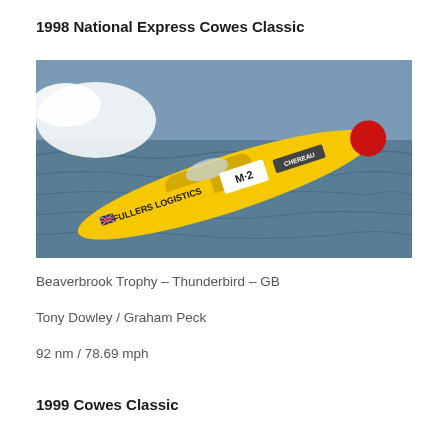1998 National Express Cowes Classic
[Figure (photo): Aerial/side view of a yellow offshore powerboat racing on open water. The boat is labeled 'FULLERS LOGISTICS' and 'M·2' and 'CHEREAU', with a UK flag visible. The boat is skimming across choppy grey-blue water at high speed, with white spray visible at the bow.]
Beaverbrook Trophy – Thunderbird – GB
Tony Dowley / Graham Peck
92 nm / 78.69 mph
1999 Cowes Classic